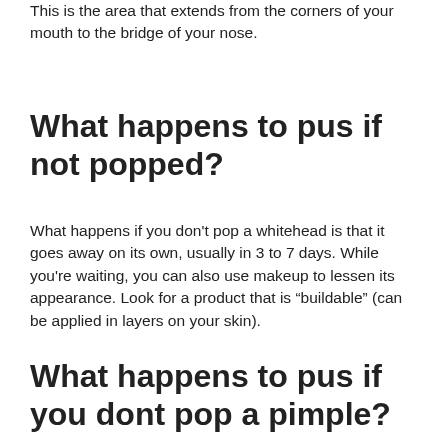This is the area that extends from the corners of your mouth to the bridge of your nose.
What happens to pus if not popped?
What happens if you don't pop a whitehead is that it goes away on its own, usually in 3 to 7 days. While you're waiting, you can also use makeup to lessen its appearance. Look for a product that is “buildable” (can be applied in layers on your skin).
What happens to pus if you dont pop a pimple?